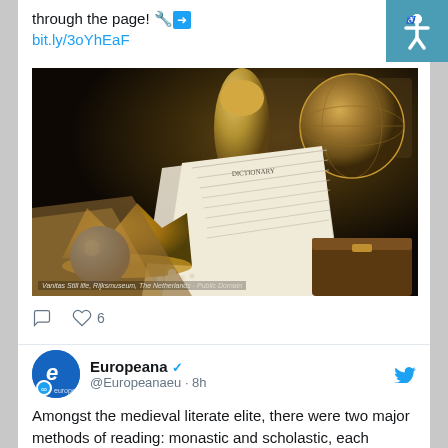through the page! 🔧➡ bit.ly/3oYhEaF
[Figure (photo): A Dutch still life painting depicting a globe, open books, a crown, and various ornate objects arranged on a table. Image credit: Vanitas Still life, Rijksmuseum, The Netherlands - Public Domain]
Vanitas Still life, Rijksmuseum, The Netherlands - Public Domain
♡ 6
Europeana ✓ @Europeanaeu · 8h
Amongst the medieval literate elite, there were two major methods of reading: monastic and scholastic, each divided into three 'levels'. Read the blog by @laBnF  to learn more➡bit.ly/3OYMEpM